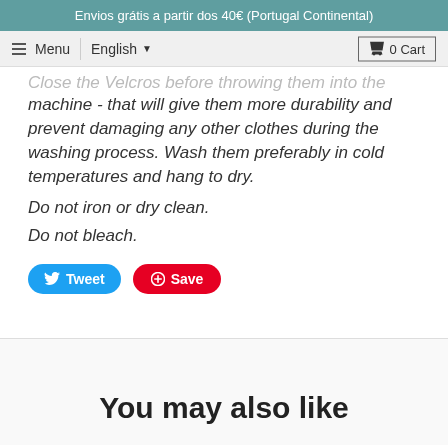Envios grátis a partir dos 40€ (Portugal Continental)
Menu  English  0 Cart
Close the Velcros before throwing them into the washing machine - that will give them more durability and prevent damaging any other clothes during the washing process. Wash them preferably in cold temperatures and hang to dry.
Do not iron or dry clean.
Do not bleach.
[Figure (other): Tweet and Save social sharing buttons]
You may also like